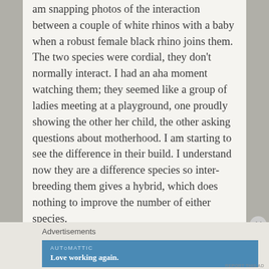am snapping photos of the interaction between a couple of white rhinos with a baby when a robust female black rhino joins them.  The two species were cordial, they don't normally interact. I had an aha moment watching them; they seemed like a group of ladies meeting at a playground, one proudly showing the other her child, the other asking questions about motherhood. I am starting to see the difference in their build. I understand now they are a difference species so inter-breeding them gives a hybrid, which does nothing to improve the number of either species.
Advertisements
[Figure (other): Automattic advertisement banner with text 'Love working again.' on a blue background]